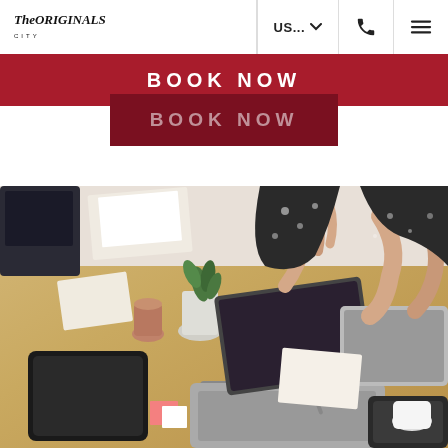The Originals City | US... | Phone | Menu
BOOK NOW
BOOK NOW
[Figure (photo): Office meeting scene viewed from above at an angle, showing two people with laptops, a plant, coffee cups, notebooks, and a tablet on a wooden desk]